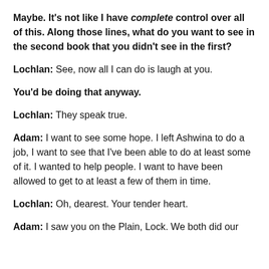Maybe. It's not like I have complete control over all of this. Along those lines, what do you want to see in the second book that you didn't see in the first?
Lochlan: See, now all I can do is laugh at you.
You'd be doing that anyway.
Lochlan: They speak true.
Adam: I want to see some hope. I left Ashwina to do a job, I want to see that I've been able to do at least some of it. I wanted to help people. I want to have been allowed to get to at least a few of them in time.
Lochlan: Oh, dearest. Your tender heart.
Adam: I saw you on the Plain, Lock. We both did our